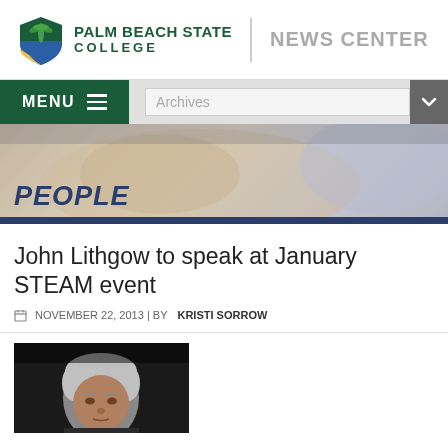[Figure (logo): Palm Beach State College logo with shield and palm tree, alongside NEWS CENTER text]
[Figure (screenshot): Navigation bar with MENU button (green) and Archives dropdown on gray background]
[Figure (photo): Banner image with blurred background showing a person and text PEOPLE in dark blue]
John Lithgow to speak at January STEAM event
NOVEMBER 22, 2013 | BY KRISTI SORROW
[Figure (photo): Black and white portrait photo of John Lithgow, an older man with grey hair]